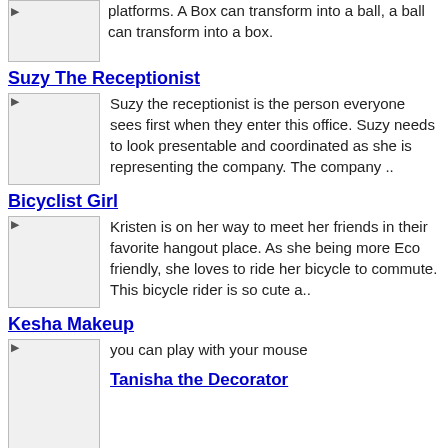platforms. A Box can transform into a ball, a ball can transform into a box.
Suzy The Receptionist
Suzy the receptionist is the person everyone sees first when they enter this office. Suzy needs to look presentable and coordinated as she is representing the company. The company ..
Bicyclist Girl
Kristen is on her way to meet her friends in their favorite hangout place. As she being more Eco friendly, she loves to ride her bicycle to commute. This bicycle rider is so cute a..
Kesha Makeup
you can play with your mouse
Tanisha the Decorator
Today Tanisha is having all new furniture